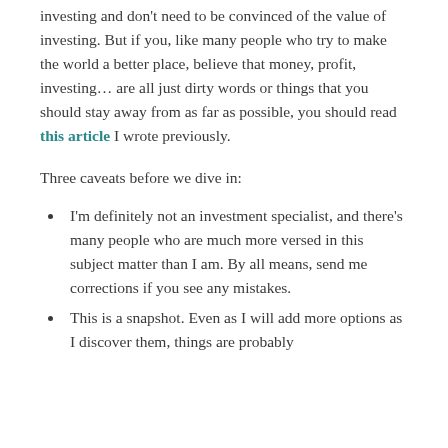investing and don't need to be convinced of the value of investing. But if you, like many people who try to make the world a better place, believe that money, profit, investing… are all just dirty words or things that you should stay away from as far as possible, you should read this article I wrote previously.
Three caveats before we dive in:
I'm definitely not an investment specialist, and there's many people who are much more versed in this subject matter than I am. By all means, send me corrections if you see any mistakes.
This is a snapshot. Even as I will add more options as I discover them, things are probably